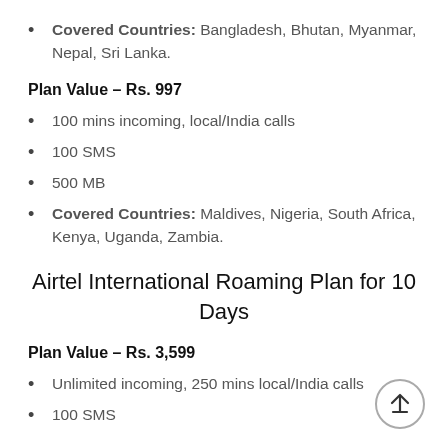Covered Countries: Bangladesh, Bhutan, Myanmar, Nepal, Sri Lanka.
Plan Value – Rs. 997
100 mins incoming, local/India calls
100 SMS
500 MB
Covered Countries: Maldives, Nigeria, South Africa, Kenya, Uganda, Zambia.
Airtel International Roaming Plan for 10 Days
Plan Value – Rs. 3,599
Unlimited incoming, 250 mins local/India calls
100 SMS